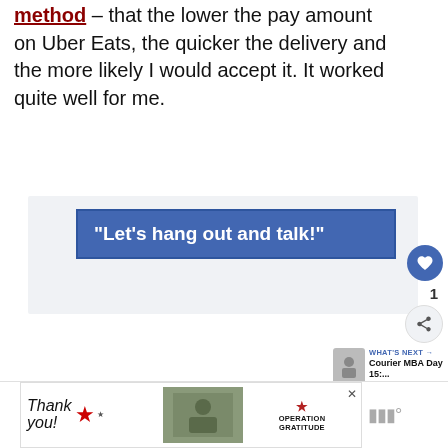method – that the lower the pay amount on Uber Eats, the quicker the delivery and the more likely I would accept it. It worked quite well for me.
[Figure (screenshot): Facebook-style embedded quote card with blue background showing text: "Let's hang out and talk!" with like button showing count of 1, share button, and a 'What's Next' recommendation for 'Courier MBA Day 15:...']
[Figure (photo): Advertisement banner for Operation Gratitude with 'Thank you!' text and military imagery]